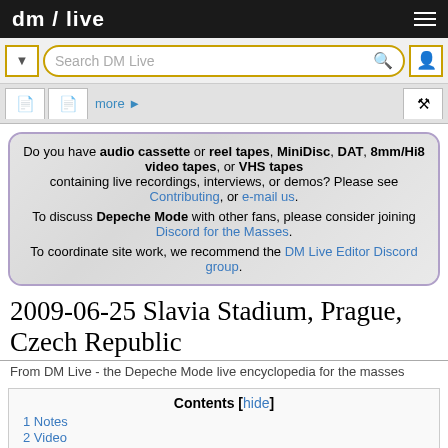dm / live
Search DM Live
[Figure (screenshot): Navigation tabs with document icons and 'more' link]
Do you have audio cassette or reel tapes, MiniDisc, DAT, 8mm/Hi8 video tapes, or VHS tapes containing live recordings, interviews, or demos? Please see Contributing, or e-mail us. To discuss Depeche Mode with other fans, please consider joining Discord for the Masses. To coordinate site work, we recommend the DM Live Editor Discord group.
2009-06-25 Slavia Stadium, Prague, Czech Republic
From DM Live - the Depeche Mode live encyclopedia for the masses
Contents [hide]
1 Notes
2 Video